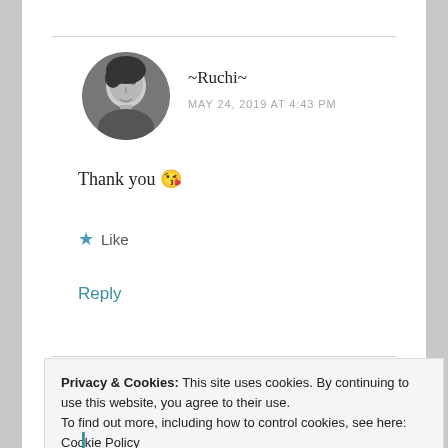[Figure (photo): Black and white circular avatar photo of a man looking downward]
~Ruchi~
MAY 24, 2019 AT 4:43 PM
Thank you 😘
★ Like
Reply
Privacy & Cookies: This site uses cookies. By continuing to use this website, you agree to their use.
To find out more, including how to control cookies, see here: Cookie Policy
Close and accept